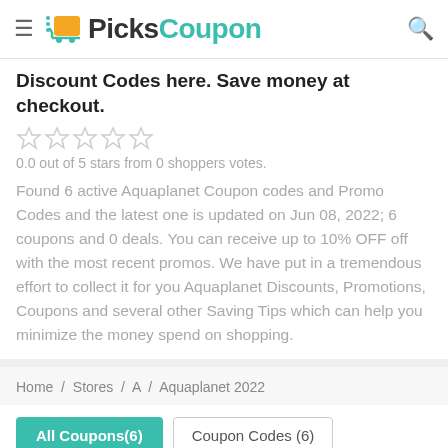PicksCoupon
Discount Codes here. Save money at checkout.
[Figure (other): Five empty star rating icons]
0.0 out of 5 stars from 0 shoppers votes.
Found 6 active Aquaplanet Coupon codes and Promo Codes and the latest one is updated on Jun 08, 2022; 6 coupons and 0 deals. You can receive up to 10% OFF off with the most recent promos. We have put in a tremendous effort to collect it for you Aquaplanet Discounts, Promotions, Coupons and several other Saving Tips which can help you minimize the money spend on shopping.
Home / Stores / A / Aquaplanet 2022
All Coupons(6)
Coupon Codes (6)
Deals (0)